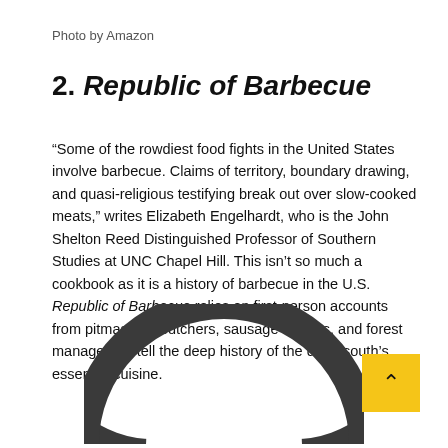Photo by Amazon
2. Republic of Barbecue
“Some of the rowdiest food fights in the United States involve barbecue. Claims of territory, boundary drawing, and quasi-religious testifying break out over slow-cooked meats,” writes Elizabeth Engelhardt, who is the John Shelton Reed Distinguished Professor of Southern Studies at UNC Chapel Hill. This isn’t so much a cookbook as it is a history of barbecue in the U.S. Republic of Barbecue relies on first-person accounts from pitmasters, butchers, sausage makers, and forest managers to tell the deep history of the deep south’s essential cuisine.
[Figure (other): Partial view of a dark circular loading spinner or logo at the bottom of the page, with a yellow back-to-top arrow button in the bottom right corner.]